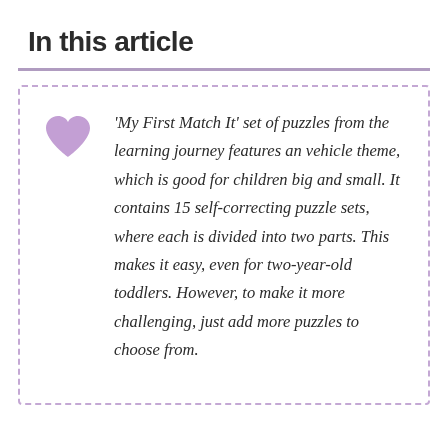In this article
‘My First Match It’ set of puzzles from the learning journey features an vehicle theme, which is good for children big and small. It contains 15 self-correcting puzzle sets, where each is divided into two parts. This makes it easy, even for two-year-old toddlers. However, to make it more challenging, just add more puzzles to choose from.